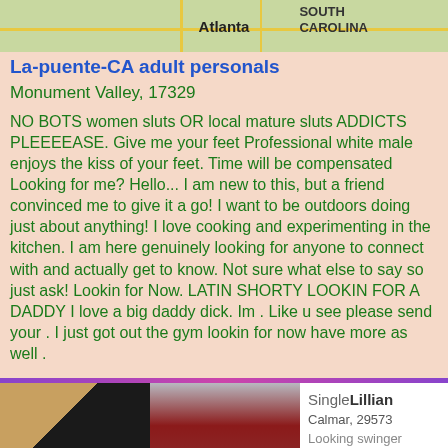[Figure (map): Map strip showing Atlanta and South Carolina labels with road overlays]
La-puente-CA adult personals
Monument Valley, 17329
NO BOTS women sluts OR local mature sluts ADDICTS PLEEEEASE. Give me your feet Professional white male enjoys the kiss of your feet. Time will be compensated Looking for me? Hello... I am new to this, but a friend convinced me to give it a go! I want to be outdoors doing just about anything! I love cooking and experimenting in the kitchen. I am here genuinely looking for anyone to connect with and actually get to know. Not sure what else to say so just ask! Lookin for Now. LATIN SHORTY LOOKIN FOR A DADDY I love a big daddy dick. Im . Like u see please send your . I just got out the gym lookin for now have more as well .
[Figure (photo): Two photos side by side: left shows dark clothing and fur/cushion, right shows woman in red top]
SingleLillian
Calmar, 29573
Looking swinger